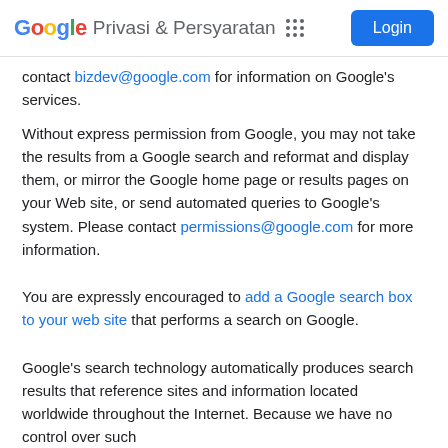Google Privasi & Persyaratan  Login
contact bizdev@google.com for information on Google's services.
Without express permission from Google, you may not take the results from a Google search and reformat and display them, or mirror the Google home page or results pages on your Web site, or send automated queries to Google's system. Please contact permissions@google.com for more information.
You are expressly encouraged to add a Google search box to your web site that performs a search on Google.
Google's search technology automatically produces search results that reference sites and information located worldwide throughout the Internet. Because we have no control over such